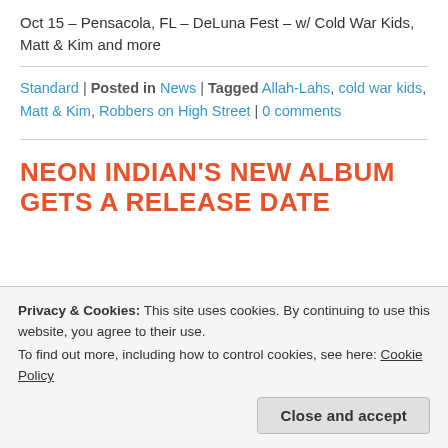Oct 15 – Pensacola, FL – DeLuna Fest – w/ Cold War Kids, Matt & Kim and more
Standard | Posted in News | Tagged Allah-Lahs, cold war kids, Matt & Kim, Robbers on High Street | 0 comments
NEON INDIAN'S NEW ALBUM GETS A RELEASE DATE
Privacy & Cookies: This site uses cookies. By continuing to use this website, you agree to their use.
To find out more, including how to control cookies, see here: Cookie Policy
Close and accept